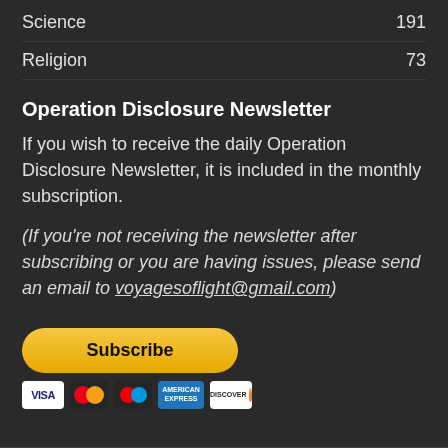Science    191
Religion    73
Operation Disclosure Newsletter
If you wish to receive the daily Operation Disclosure Newsletter, it is included in the monthly subscription.
(If you’re not receiving the newsletter after subscribing or you are having issues, please send an email to voyagesoflight@gmail.com)
[Figure (other): PayPal Subscribe button with payment card icons (Visa, Mastercard, Maestro, American Express, Discover)]